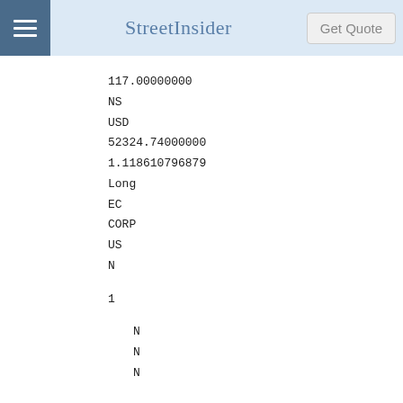StreetInsider | Get Quote
117.00000000
NS
USD
52324.74000000
1.118610796879
Long
EC
CORP
US
N

1

   N
   N
   N



Bank of America Corp
9DJT3UXIJIZJI4WXO774